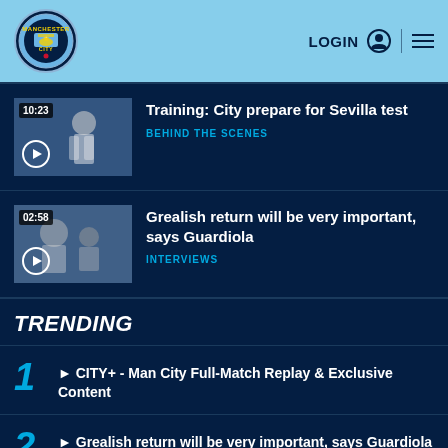[Figure (logo): Manchester City FC crest logo in circle]
LOGIN
Training: City prepare for Sevilla test | BEHIND THE SCENES | 10:23
Grealish return will be very important, says Guardiola | INTERVIEWS | 02:58
TRENDING
1. ▶ CITY+ - Man City Full-Match Replay & Exclusive Content
2. ▶ Grealish return will be very important, says Guardiola